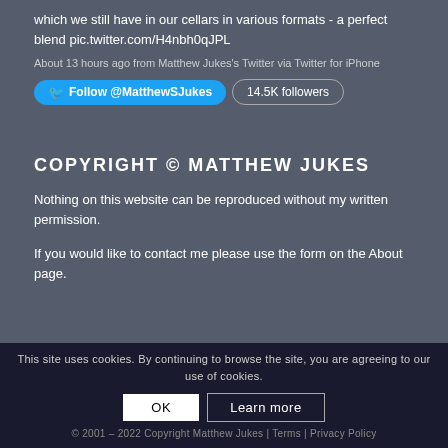which we still have in our cellars in various formats - a perfect blend pic.twitter.com/H4nbh0qJPL
About 13 hours ago from Matthew Jukes's Twitter via Twitter for iPhone
Follow @MatthewSJukes | 14.5K followers
COPYRIGHT © MATTHEW JUKES
Nothing on this website can be reproduced without my written permission.
If you would like to contact me please use the form on the About page.
This site uses cookies. By continuing to browse the site, you are agreeing to our use of cookies.
OK | Learn more
© 2001 – 2022 Copyright Matthew Jukes | Terms | Privacy Policy